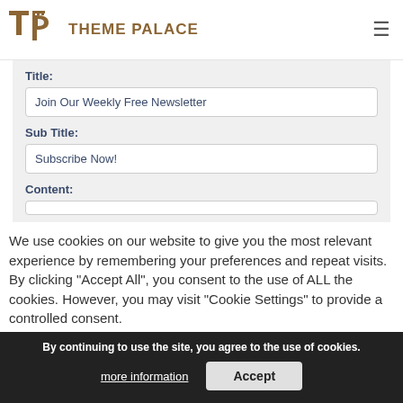THEME PALACE
Title:
Join Our Weekly Free Newsletter
Sub Title:
Subscribe Now!
Content:
We use cookies on our website to give you the most relevant experience by remembering your preferences and repeat visits. By clicking “Accept All”, you consent to the use of ALL the cookies. However, you may visit "Cookie Settings" to provide a controlled consent.
By continuing to use the site, you agree to the use of cookies.
more information
Accept